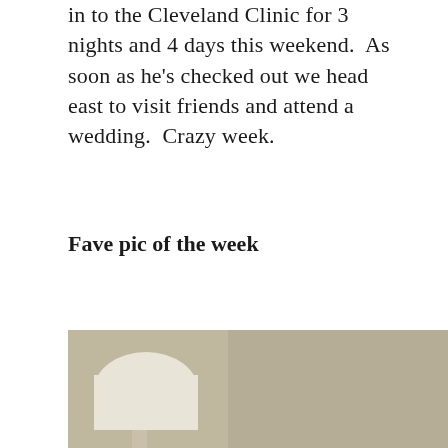in to the Cleveland Clinic for 3 nights and 4 days this weekend.  As soon as he's checked out we head east to visit friends and attend a wedding.  Crazy week.
Fave pic of the week
[Figure (photo): A child sleeping in bed with colorful bedding and a green pillow, with a dark cat draped over the top of an upholstered grey headboard. A lamp and nightstand items visible in the background.]